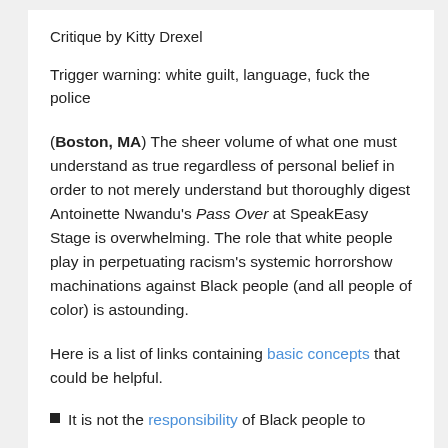Critique by Kitty Drexel
Trigger warning: white guilt, language, fuck the police
(Boston, MA) The sheer volume of what one must understand as true regardless of personal belief in order to not merely understand but thoroughly digest Antoinette Nwandu's Pass Over at SpeakEasy Stage is overwhelming. The role that white people play in perpetuating racism's systemic horrorshow machinations against Black people (and all people of color) is astounding.
Here is a list of links containing basic concepts that could be helpful.
It is not the responsibility of Black people to